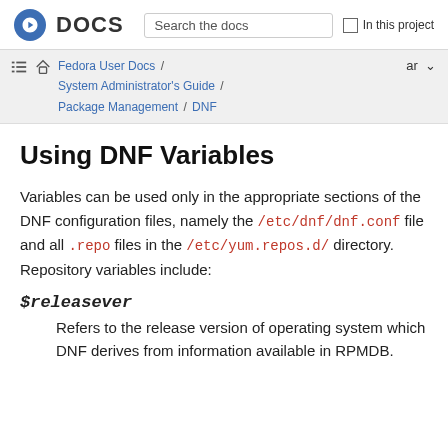Fedora DOCS | Search the docs | In this project
Fedora User Docs / System Administrator's Guide / Package Management / DNF
Using DNF Variables
Variables can be used only in the appropriate sections of the DNF configuration files, namely the /etc/dnf/dnf.conf file and all .repo files in the /etc/yum.repos.d/ directory. Repository variables include:
$releasever
Refers to the release version of operating system which DNF derives from information available in RPMDB.